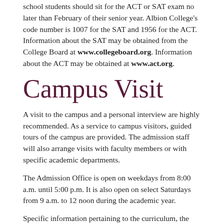school students should sit for the ACT or SAT exam no later than February of their senior year. Albion College's code number is 1007 for the SAT and 1956 for the ACT. Information about the SAT may be obtained from the College Board at www.collegeboard.org. Information about the ACT may be obtained at www.act.org.
Campus Visit
A visit to the campus and a personal interview are highly recommended. As a service to campus visitors, guided tours of the campus are provided. The admission staff will also arrange visits with faculty members or with specific academic departments.
The Admission Office is open on weekdays from 8:00 a.m. until 5:00 p.m. It is also open on select Saturdays from 9 a.m. to 12 noon during the academic year.
Specific information pertaining to the curriculum, the faculty or admission to Albion College may be obtained from:
Albion College
Office of Admission